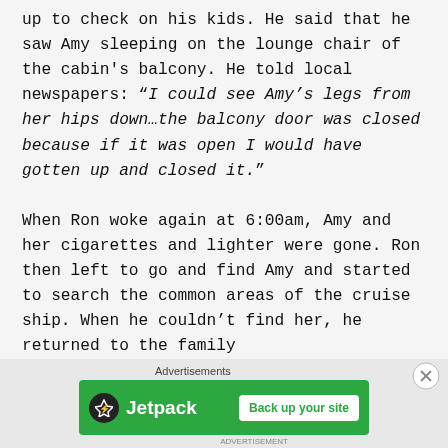up to check on his kids. He said that he saw Amy sleeping on the lounge chair of the cabin's balcony. He told local newspapers: “I could see Amy’s legs from her hips down…the balcony door was closed because if it was open I would have gotten up and closed it.”

When Ron woke again at 6:00am, Amy and her cigarettes and lighter were gone. Ron then left to go and find Amy and started to search the common areas of the cruise ship. When he couldn’t find her, he returned to the family
[Figure (other): Jetpack advertisement banner with green background showing Jetpack logo and 'Back up your site' button]